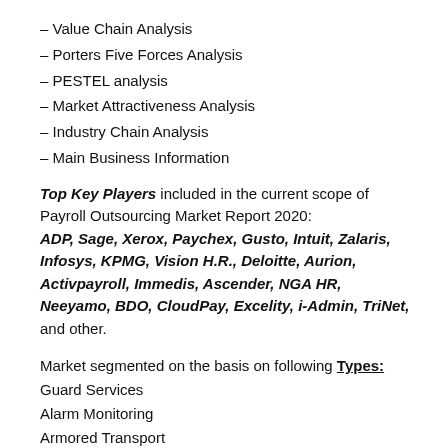– Value Chain Analysis
– Porters Five Forces Analysis
– PESTEL analysis
– Market Attractiveness Analysis
– Industry Chain Analysis
– Main Business Information
Top Key Players included in the current scope of Payroll Outsourcing Market Report 2020: ADP, Sage, Xerox, Paychex, Gusto, Intuit, Zalaris, Infosys, KPMG, Vision H.R., Deloitte, Aurion, Activpayroll, Immedis, Ascender, NGA HR, Neeyamo, BDO, CloudPay, Excelity, i-Admin, TriNet, and other.
Market segmented on the basis on following Types:
Guard Services
Alarm Monitoring
Armored Transport